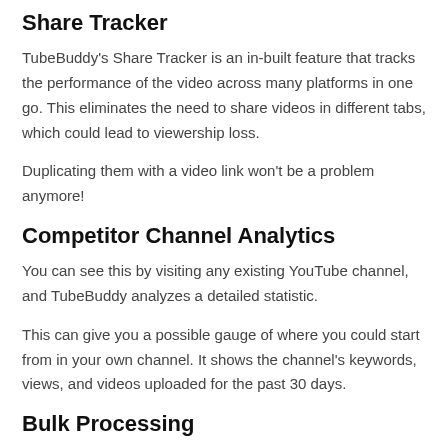Share Tracker
TubeBuddy's Share Tracker is an in-built feature that tracks the performance of the video across many platforms in one go. This eliminates the need to share videos in different tabs, which could lead to viewership loss.
Duplicating them with a video link won't be a problem anymore!
Competitor Channel Analytics
You can see this by visiting any existing YouTube channel, and TubeBuddy analyzes a detailed statistic.
This can give you a possible gauge of where you could start from in your own channel. It shows the channel's keywords, views, and videos uploaded for the past 30 days.
Bulk Processing